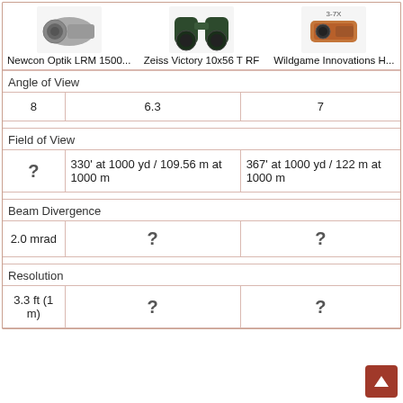[Figure (photo): Product comparison header with three rangefinder/binocular product images: Newcon Optik LRM 1500..., Zeiss Victory 10x56 T RF, Wildgame Innovations H...]
|  | Newcon Optik LRM 1500... | Zeiss Victory 10x56 T RF | Wildgame Innovations H... |
| --- | --- | --- | --- |
| Angle of View |  |  |  |
|  | 8 | 6.3 | 7 |
| Field of View |  |  |  |
|  | ? | 330' at 1000 yd / 109.56 m at 1000 m | 367' at 1000 yd / 122 m at 1000 m |
| Beam Divergence |  |  |  |
|  | 2.0 mrad | ? | ? |
| Resolution |  |  |  |
|  | 3.3 ft (1 m) | ? | ? |